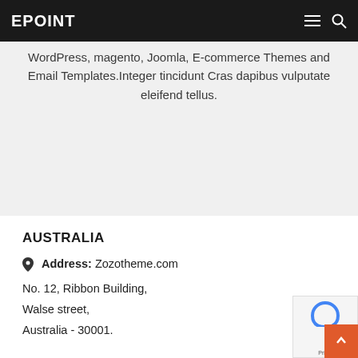EPOINT
WordPress, magento, Joomla, E-commerce Themes and Email Templates.Integer tincidunt Cras dapibus vulputate eleifend tellus.
AUSTRALIA
Address: Zozotheme.com
No. 12, Ribbon Building,
Walse street,
Australia - 30001.